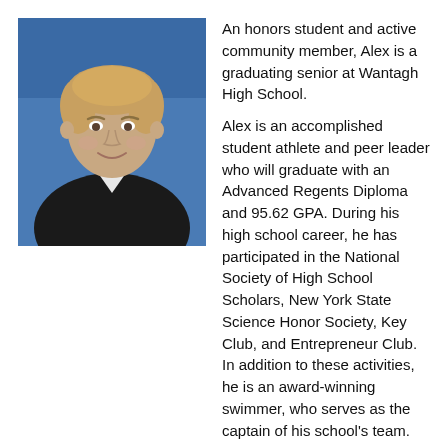[Figure (photo): School portrait photo of Alex, a young male student with blonde hair, wearing a dark jacket and white collared shirt, against a blue background.]
An honors student and active community member, Alex is a graduating senior at Wantagh High School.

Alex is an accomplished student athlete and peer leader who will graduate with an Advanced Regents Diploma and 95.62 GPA. During his high school career, he has participated in the National Society of High School Scholars, New York State Science Honor Society, Key Club, and Entrepreneur Club. In addition to these activities, he is an award-winning swimmer, who serves as the captain of his school's team.

Outside of his school community, Alex continues to help others as a lifeguard and volunteer. In addition to working with the St. Barnabas Church Food Kitchen, he has consistently participated in the annual Jones Beach Clean Up and has volunteered with Skudin Surf, an organization that aims to help special needs children learn to surf.